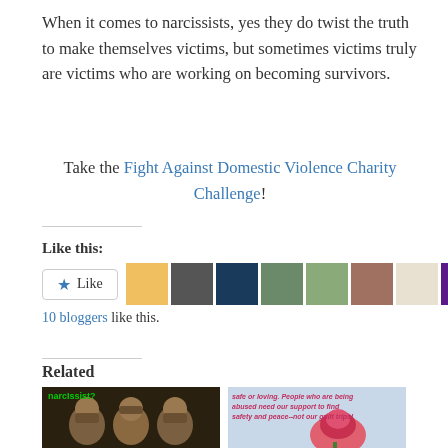When it comes to narcissists, yes they do twist the truth to make themselves victims, but sometimes victims truly are victims who are working on becoming survivors.
Take the Fight Against Domestic Violence Charity Challenge!
Like this:
10 bloggers like this.
Related
[Figure (photo): Image showing three wise monkeys with text 'narcissist?' in green]
[Figure (photo): Image with text about abuse support: 'safe or loving. People who are being abused need our support to find safety and peace--not our guilt trips!']